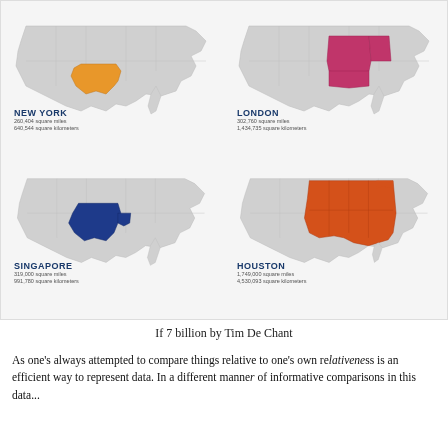[Figure (map): Four US maps each highlighting different states to represent the area of a city: New York (Texas highlighted in orange), London (Kansas, Nebraska, Missouri, Arkansas highlighted in pink/magenta), Singapore (Texas, Louisiana, Oklahoma highlighted in dark blue), Houston (large central US region highlighted in orange-red)]
If 7 billion by Tim De Chant
As one's always attempted to compare things relative to one's own relativeness is an efficient way to represent data. In a different manner of informative comparisons in this data...